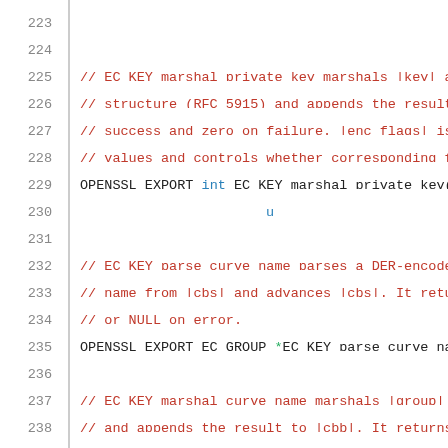223
224
225  // EC_KEY_marshal_private_key marshals |key| as
226  // structure (RFC 5915) and appends the result t
227  // success and zero on failure. |enc_flags| is a
228  // values and controls whether corresponding fi
229  OPENSSL_EXPORT int EC_KEY_marshal_private_key(C
230                                                  u
231
232  // EC_KEY_parse_curve_name parses a DER-encoded
233  // name from |cbs| and advances |cbs|. It retur
234  // or NULL on error.
235  OPENSSL_EXPORT EC_GROUP *EC_KEY_parse_curve_name
236
237  // EC_KEY_marshal_curve_name marshals |group| as
238  // and appends the result to |cbb|. It returns o
239  // failure.
240  OPENSSL_EXPORT int EC_KEY_marshal_curve_name(CB
241
242  // EC_KEY_parse_parameters parses a DER-encoded
243  // 5480) from |cbs| and advances |cbs|. It retu
244  // or NULL on error. It supports the namedCurve